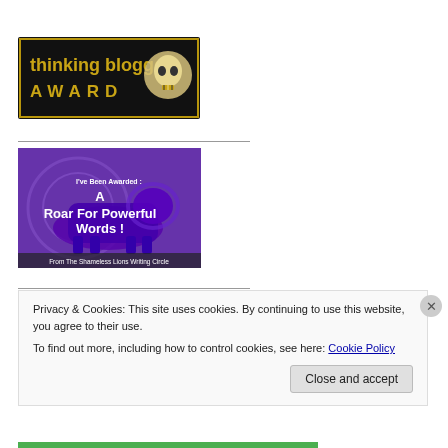[Figure (logo): Thinking Blogger Award badge — black background with gold text 'thinking blogger AWARD' and a skull/globe graphic]
[Figure (illustration): I've Been Awarded: A Roar For Powerful Words! From The Shameless Lions Writing Circle — purple lion silhouette on purple/blue background]
Privacy & Cookies: This site uses cookies. By continuing to use this website, you agree to their use.
To find out more, including how to control cookies, see here: Cookie Policy
Close and accept